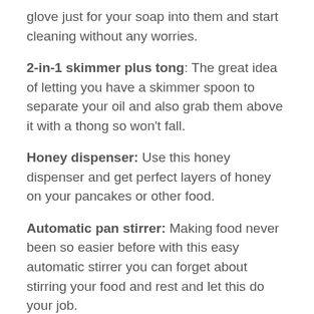glove just for your soap into them and start cleaning without any worries.
2-in-1 skimmer plus tong: The great idea of letting you have a skimmer spoon to separate your oil and also grab them above it with a thong so won't fall.
Honey dispenser: Use this honey dispenser and get perfect layers of honey on your pancakes or other food.
Automatic pan stirrer: Making food never been so easier before with this easy automatic stirrer you can forget about stirring your food and rest and let this do your job.
Weighing spoon: This is great for people who love to cook now get your perfect weight of